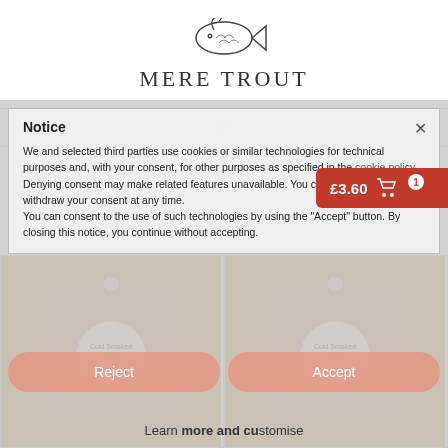[Figure (logo): Mere Trout logo with fish illustration above text]
≡
Home » Farm Shop » Cold Smoked Trout
Notice
We and selected third parties use cookies or similar technologies for technical purposes and, with your consent, for other purposes as specified in the cookie policy. Denying consent may make related features unavailable. You can freely give, deny, or withdraw your consent at any time. You can consent to the use of such technologies by using the "Accept" button. By closing this notice, you continue without accepting.
£3.60
[Figure (photo): Cold Smoked Trout product in packaging - left image]
[Figure (photo): Cold Smoked Trout product in packaging - right image]
Reject
Accept
Learn more and customise